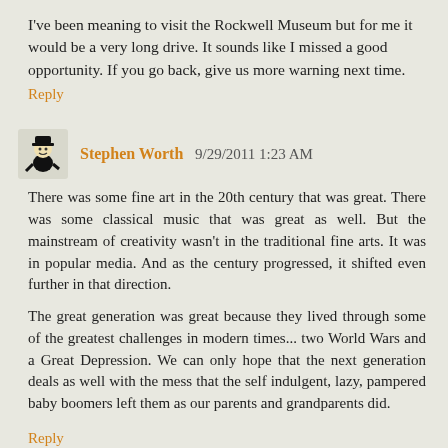I've been meaning to visit the Rockwell Museum but for me it would be a very long drive. It sounds like I missed a good opportunity. If you go back, give us more warning next time.
Reply
Stephen Worth 9/29/2011 1:23 AM
There was some fine art in the 20th century that was great. There was some classical music that was great as well. But the mainstream of creativity wasn't in the traditional fine arts. It was in popular media. And as the century progressed, it shifted even further in that direction.
The great generation was great because they lived through some of the greatest challenges in modern times... two World Wars and a Great Depression. We can only hope that the next generation deals as well with the mess that the self indulgent, lazy, pampered baby boomers left them as our parents and grandparents did.
Reply